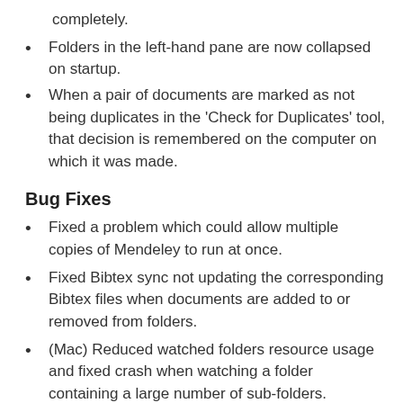completely.
Folders in the left-hand pane are now collapsed on startup.
When a pair of documents are marked as not being duplicates in the ‘Check for Duplicates’ tool, that decision is remembered on the computer on which it was made.
Bug Fixes
Fixed a problem which could allow multiple copies of Mendeley to run at once.
Fixed Bibtex sync not updating the corresponding Bibtex files when documents are added to or removed from folders.
(Mac) Reduced watched folders resource usage and fixed crash when watching a folder containing a large number of sub-folders.